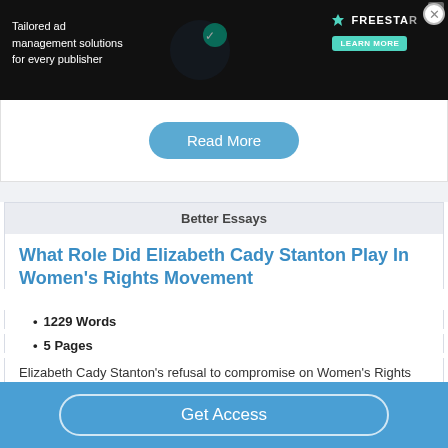[Figure (screenshot): Freestar ad banner: 'Tailored ad management solutions for every publisher' with Learn More button on dark background]
Read More
Better Essays
What Role Did Elizabeth Cady Stanton Play In Women's Rights Movement
1229 Words
5 Pages
Elizabeth Cady Stanton's refusal to compromise on Women's Rights inspired many other women to follow her
Get Access